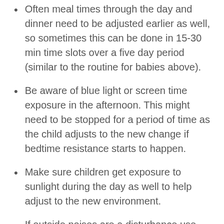Often meal times through the day and dinner need to be adjusted earlier as well, so sometimes this can be done in 15-30 min time slots over a five day period (similar to the routine for babies above).
Be aware of blue light or screen time exposure in the afternoon. This might need to be stopped for a period of time as the child adjusts to the new change if bedtime resistance starts to happen.
Make sure children get exposure to sunlight during the day as well to help adjust to the new environment.
If outside noises are a disturbance use